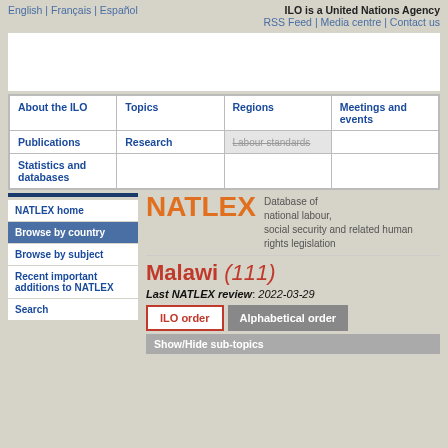English | Français | Español | ILO is a United Nations Agency | RSS Feed | Media centre | Contact us
| About the ILO | Topics | Regions | Meetings and events |
| --- | --- | --- | --- |
| Publications | Research | Labour standards |  |
| Statistics and databases |  |  |  |
[Figure (screenshot): NATLEX logo and description: Database of national labour, social security and related human rights legislation]
Malawi (111)
Last NATLEX review: 2022-03-29
NATLEX home
Browse by country
Browse by subject
Recent important additions to NATLEX
Search
ILO order | Alphabetical order
Show/Hide sub-topics